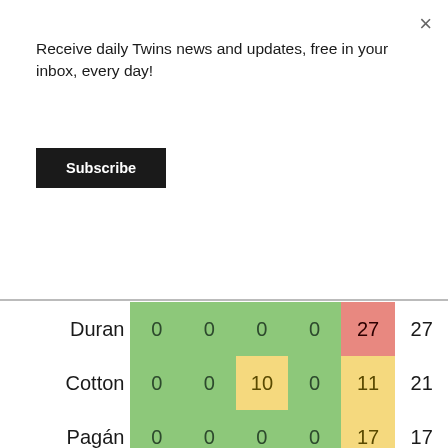Receive daily Twins news and updates, free in your inbox, every day!
Subscribe
|  | col1 | col2 | col3 | col4 | col5 | Total |
| --- | --- | --- | --- | --- | --- | --- |
| Duran | 0 | 0 | 0 | 0 | 27 | 27 |
| Cotton | 0 | 0 | 10 | 0 | 11 | 21 |
| Pagán | 0 | 0 | 0 | 0 | 17 | 17 |
| Smith | 0 | 0 | 0 | 0 | 0 | 0 |
Next Up
On Wednesday, the Twins will continue their series against Cleveland. Sonny Gray starts for Minnesota, against Triston McKenzie of the Guardians. First pitch is 6:40 CT.